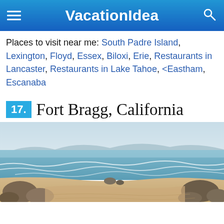VacationIdea
Places to visit near me: South Padre Island, Lexington, Floyd, Essex, Biloxi, Erie, Restaurants in Lancaster, Restaurants in Lake Tahoe, <Eastham, Escanaba
17. Fort Bragg, California
[Figure (photo): Coastal beach scene at Fort Bragg, California showing sandy beach with rocky outcroppings, ocean waves, and overcast sky with mountains in the distance]